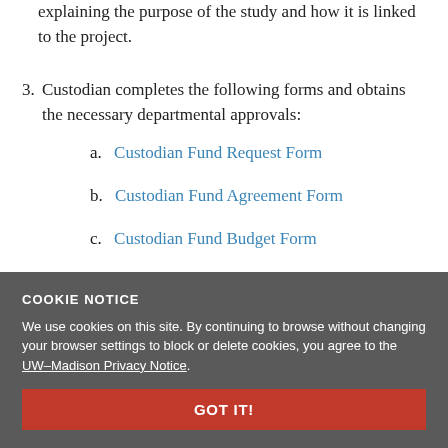explaining the purpose of the study and how it is linked to the project.
3. Custodian completes the following forms and obtains the necessary departmental approvals:
a. Custodian Fund Request Form
b. Custodian Fund Agreement Form
c. Custodian Fund Budget Form
d. New Bank Account Form
e. CW-M...
f. Bank Account Website Access Form (US Bank SinglePoint)
COOKIE NOTICE
We use cookies on this site. By continuing to browse without changing your browser settings to block or delete cookies, you agree to the UW–Madison Privacy Notice.
GOT IT!